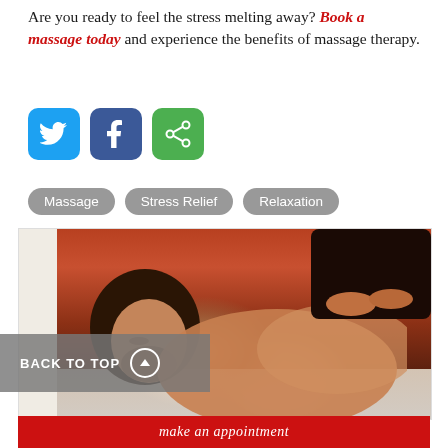Are you ready to feel the stress melting away? Book a massage today and experience the benefits of massage therapy.
[Figure (infographic): Three social media share buttons: Twitter (blue bird icon), Facebook (dark blue f icon), and a green share/forward icon]
Massage
Stress Relief
Relaxation
[Figure (photo): A man receiving a back massage while lying face down on a massage table. A therapist's hands are working on his upper back. The background is orange-brown. White towels are nearby.]
BACK TO TOP
make an appointment